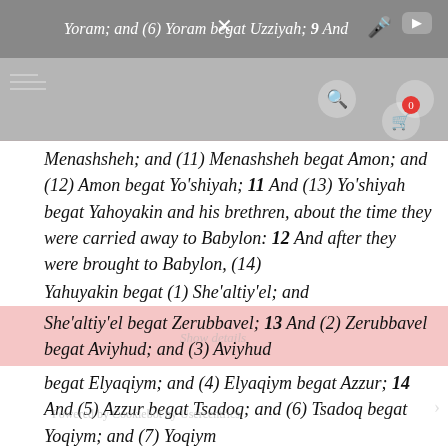Yoram; and (6) Yoram begat Uzziyah; 9 And
Yechizqiyah; 10 And (10) Yechizqiyah begat Menashsheh; and (11) Menashsheh begat Amon; and (12) Amon begat Yo'shiyah; 11 And (13) Yo'shiyah begat Yahoyakin and his brethren, about the time they were carried away to Babylon: 12 And after they were brought to Babylon, (14) Yahuyakin begat (1) She'altiy'el; and She'altiy'el begat Zerubbavel; 13 And (2) Zerubbavel begat Aviyhud; and (3) Aviyhud begat Elyaqiym; and (4) Elyaqiym begat Azzur; 14 And (5) Azzur begat Tsadoq; and (6) Tsadoq begat Yoqiym; and (7) Yoqiym